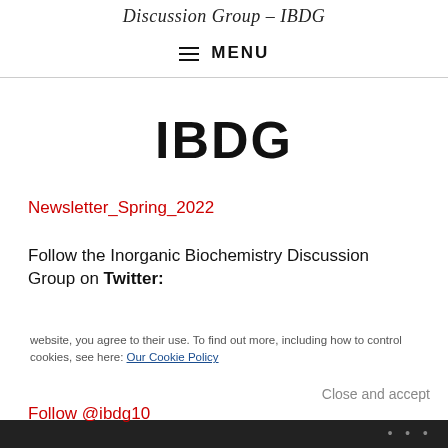Discussion Group – IBDG
≡ MENU
IBDG
Newsletter_Spring_2022
Follow the Inorganic Biochemistry Discussion Group on Twitter:
website, you agree to their use. To find out more, including how to control cookies, see here: Our Cookie Policy
Close and accept
Follow @ibdg10